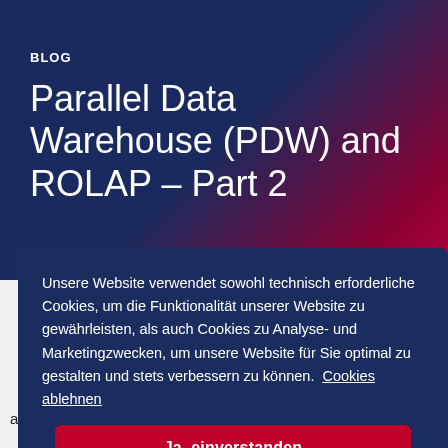BLOG
Parallel Data Warehouse (PDW) and ROLAP – Part 2
Unsere Website verwendet sowohl technisch erforderliche Cookies, um die Funktionalität unserer Website zu gewährleisten, als auch Cookies zu Analyse- und Marketingzwecken, um unsere Website für Sie optimal zu gestalten und stets verbessern zu können.  Cookies ablehnen
Ja, einverstanden
on
a PDW source. Please read part 1 first as most of the